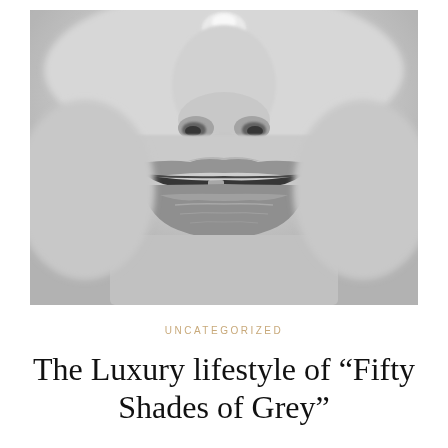[Figure (photo): Close-up black and white photograph of a woman's face focusing on her nose and lips, with parted lips showing teeth slightly]
UNCATEGORIZED
The Luxury lifestyle of “Fifty Shades of Grey”